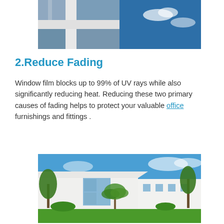[Figure (photo): Close-up photo of white window frames with glass reflecting clouds and blue sky]
2.Reduce Fading
Window film blocks up to 99% of UV rays while also significantly reducing heat. Reducing these two primary causes of fading helps to protect your valuable office furnishings and fittings .
[Figure (photo): Modern white commercial building exterior with large glass windows, palm trees, and green lawn under blue sky]